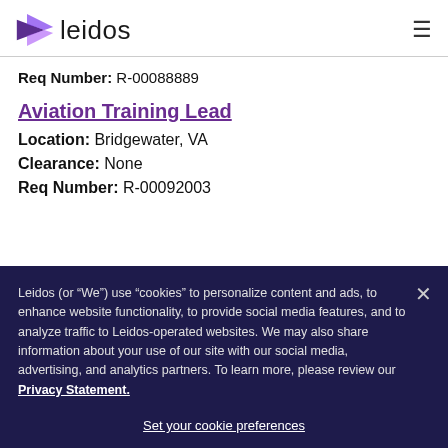[Figure (logo): Leidos logo with purple triangle/arrow and 'leidos' wordmark]
Req Number: R-00088889
Aviation Training Lead
Location: Bridgewater, VA
Clearance: None
Req Number: R-00092003
Leidos (or “We”) use “cookies” to personalize content and ads, to enhance website functionality, to provide social media features, and to analyze traffic to Leidos-operated websites. We may also share information about your use of our site with our social media, advertising, and analytics partners. To learn more, please review our Privacy Statement.
Set your cookie preferences